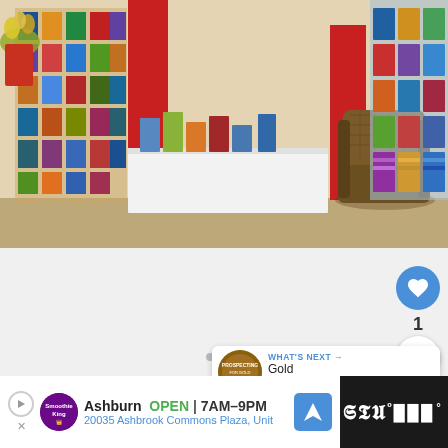[Figure (photo): Interior of a tourist information center showing brochure racks, red display panels, a brown armchair, a white counter, and two people looking at brochures. Colorful travel pamphlets visible on racks.]
[Figure (screenshot): Social media interface elements showing a blue like/heart button, count of 1, share button with plus icon, three navigation dots, and a 'WHAT'S NEXT' panel showing a Gold prospecting thumbnail with text 'Gold prospecting...']
[Figure (screenshot): Advertisement bar at bottom: Smoothie King ad showing 'Ashburn OPEN 7AM-9PM' and '20035 Ashbrook Commons Plaza, Unit' with navigation arrow icon, and weather widget on dark right side.]